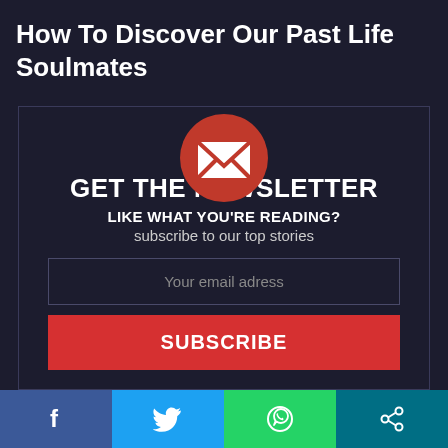How To Discover Our Past Life Soulmates
[Figure (infographic): Newsletter signup widget with red envelope circle icon, GET THE NEWSLETTER heading, LIKE WHAT YOU'RE READING? subheading, subscribe to our top stories text, email input field, and red SUBSCRIBE button]
[Figure (infographic): Social sharing bar with four icons: Facebook (blue), Twitter (light blue), WhatsApp (green), Share (teal)]